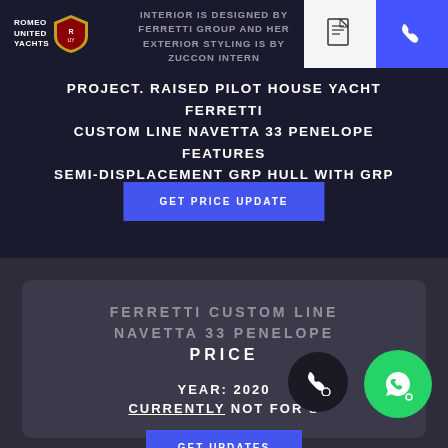ROMEO UNITED YACHTS
INTERIOR IS DESIGNED BY FERRETTI GROUP AND HER EXTERIOR STYLING IS BY ZUCCON INTERNATIONAL PROJECT. RAISED PILOT HOUSE YACHT FERRETTI CUSTOM LINE NAVETTA 33 PENELOPE FEATURES SEMI-DISPLACEMENT GRP HULL WITH GRP SUPERSTRUCTURE.
GET PRICE UPDATE
FERRETTI CUSTOM LINE NAVETTA 33 PENELOPE PRICE
YEAR: 2020
CURRENTLY NOT FOR SALE
GET UPDATES